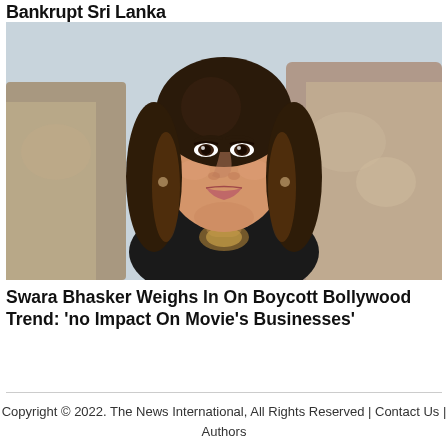Bankrupt Sri Lanka
[Figure (photo): Portrait photo of Swara Bhasker, a woman with long dark brown hair, wearing a black outfit, posed outdoors against a rocky background]
Swara Bhasker Weighs In On Boycott Bollywood Trend: 'no Impact On Movie's Businesses'
Copyright © 2022. The News International, All Rights Reserved | Contact Us | Authors